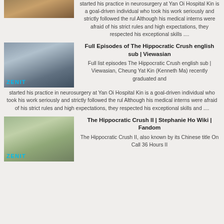[Figure (photo): Thumbnail image of a brown/earthy construction scene, partially visible at top left]
started his practice in neurosurgery at Yan Oi Hospital Kin is a goal-driven individual who took his work seriously and strictly followed the rul Although his medical interns were afraid of his strict rules and high expectations, they respected his exceptional skills ....
[Figure (photo): Thumbnail image of industrial scaffolding structure with blue equipment, ZENIT label visible]
Full Episodes of The Hippocratic Crush english sub | Viewasian
Full list episodes The Hippocratic Crush english sub | Viewasian, Cheung Yat Kin (Kenneth Ma) recently graduated and started his practice in neurosurgery at Yan Oi Hospital Kin is a goal-driven individual who took his work seriously and strictly followed the rul Although his medical interns were afraid of his strict rules and high expectations, they respected his exceptional skills and ....
[Figure (photo): Thumbnail image of aerial landscape with greenery and structures, ZENIT label visible]
The Hippocratic Crush II | Stephanie Ho Wiki | Fandom
The Hippocratic Crush II, also known by its Chinese title On Call 36 Hours II